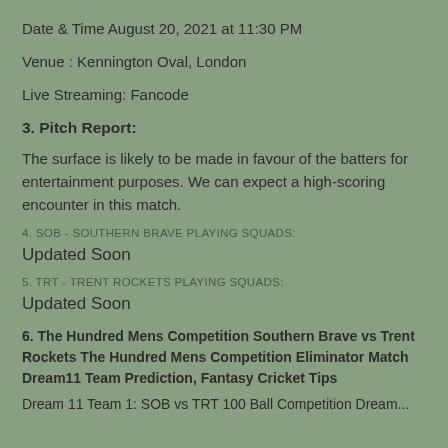Date & Time August 20, 2021 at 11:30 PM
Venue : Kennington Oval, London
Live Streaming: Fancode
3. Pitch Report:
The surface is likely to be made in favour of the batters for entertainment purposes. We can expect a high-scoring encounter in this match.
4. SOB - SOUTHERN BRAVE PLAYING SQUADS:
Updated Soon
5. TRT - TRENT ROCKETS PLAYING SQUADS:
Updated Soon
6. The Hundred Mens Competition Southern Brave vs Trent Rockets The Hundred Mens Competition Eliminator Match Dream11 Team Prediction, Fantasy Cricket Tips
Dream 11 Team 1: SOB vs TRT 100 Ball Competition Dream...